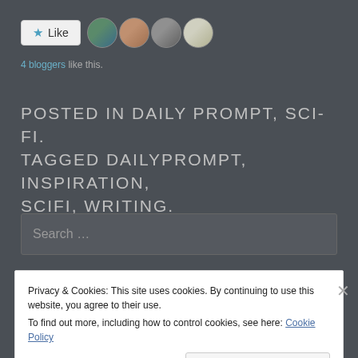[Figure (other): Like button with star icon and 4 blogger avatar photos]
4 bloggers like this.
POSTED IN DAILY PROMPT, SCI-FI. TAGGED DAILYPROMPT, INSPIRATION, SCIFI, WRITING.
[Figure (other): Search input box with placeholder text 'Search ...']
Privacy & Cookies: This site uses cookies. By continuing to use this website, you agree to their use.
To find out more, including how to control cookies, see here: Cookie Policy
Close and accept